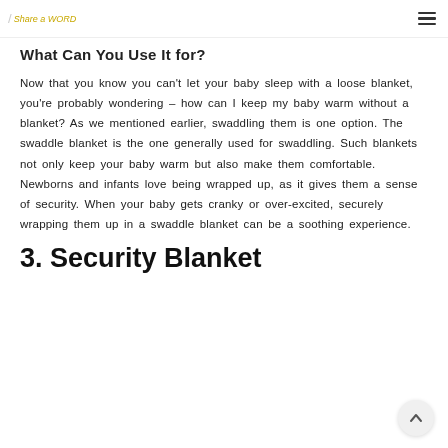Share a word
What Can You Use It for?
Now that you know you can't let your baby sleep with a loose blanket, you're probably wondering – how can I keep my baby warm without a blanket? As we mentioned earlier, swaddling them is one option. The swaddle blanket is the one generally used for swaddling. Such blankets not only keep your baby warm but also make them comfortable. Newborns and infants love being wrapped up, as it gives them a sense of security. When your baby gets cranky or over-excited, securely wrapping them up in a swaddle blanket can be a soothing experience.
3. Security Blanket